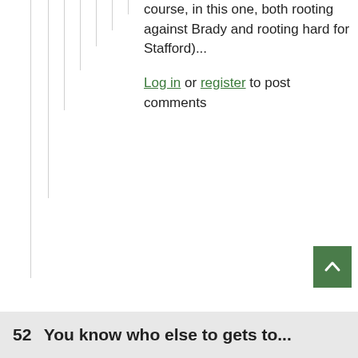course, in this one, both rooting against Brady and rooting hard for Stafford)...
Log in or register to post comments
[Figure (other): Green scroll-to-top button with upward arrow chevron]
52  You know who else to gets to...